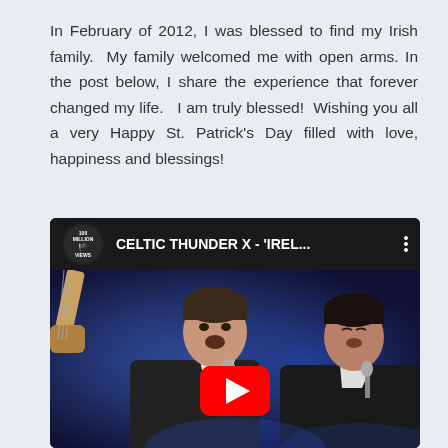In February of 2012, I was blessed to find my Irish family.  My family welcomed me with open arms. In the post below, I share the experience that forever changed my life.   I am truly blessed!  Wishing you all a very Happy St. Patrick's Day filled with love, happiness and blessings!
[Figure (screenshot): YouTube video thumbnail showing Celtic Thunder X - 'IREL...' with two young male performers singing on a stage with blue lighting and a guitarist visible in the background. A large red YouTube play button is overlaid at the bottom center. A '100 Million Views' badge appears in the top-left corner of the video bar.]